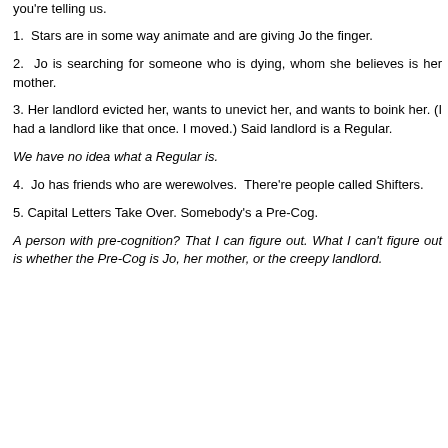you're telling us.
1.  Stars are in some way animate and are giving Jo the finger.
2.  Jo is searching for someone who is dying, whom she believes is her mother.
3. Her landlord evicted her, wants to unevict her, and wants to boink her. (I had a landlord like that once. I moved.) Said landlord is a Regular.
We have no idea what a Regular is.
4.  Jo has friends who are werewolves.  There're people called Shifters.
5. Capital Letters Take Over. Somebody's a Pre-Cog.
A person with pre-cognition? That I can figure out. What I can't figure out is whether the Pre-Cog is Jo, her mother, or the creepy landlord.